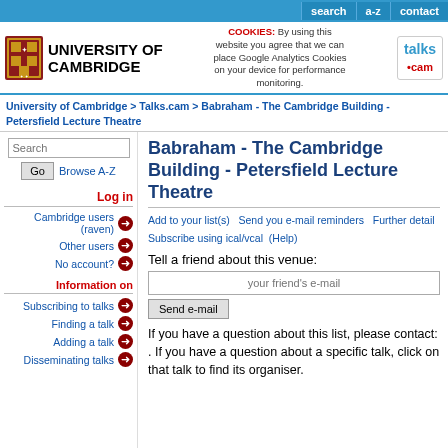search   a-z   contact
[Figure (logo): University of Cambridge crest and wordmark logo]
COOKIES: By using this website you agree that we can place Google Analytics Cookies on your device for performance monitoring.
[Figure (logo): talks.cam logo]
University of Cambridge > Talks.cam > Babraham - The Cambridge Building - Petersfield Lecture Theatre
Babraham - The Cambridge Building - Petersfield Lecture Theatre
Add to your list(s)   Send you e-mail reminders   Further detail   Subscribe using ical/vcal (Help)
Tell a friend about this venue:
your friend's e-mail
Send e-mail
If you have a question about this list, please contact: . If you have a question about a specific talk, click on that talk to find its organiser.
Log in
Cambridge users (raven)
Other users
No account?
Information on
Subscribing to talks
Finding a talk
Adding a talk
Disseminating talks